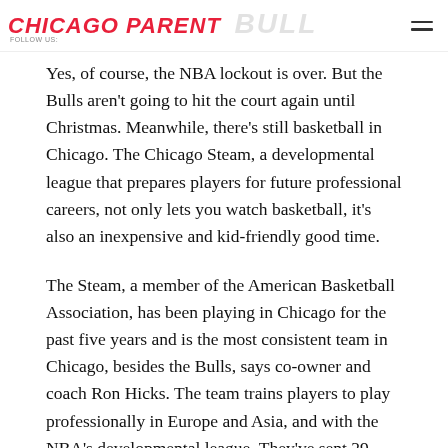CHICAGO PARENT | BULL
Yes, of course, the NBA lockout is over. But the Bulls aren't going to hit the court again until Christmas. Meanwhile, there's still basketball in Chicago. The Chicago Steam, a developmental league that prepares players for future professional careers, not only lets you watch basketball, it's also an inexpensive and kid-friendly good time.
The Steam, a member of the American Basketball Association, has been playing in Chicago for the past five years and is the most consistent team in Chicago, besides the Bulls, says co-owner and coach Ron Hicks. The team trains players to play professionally in Europe and Asia, and with the NBA's developmental league. They've sent 29